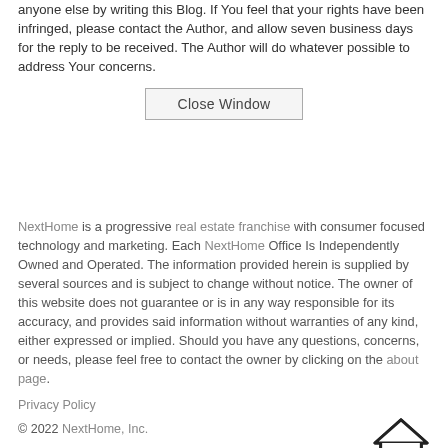anyone else by writing this Blog. If You feel that your rights have been infringed, please contact the Author, and allow seven business days for the reply to be received. The Author will do whatever possible to address Your concerns.
Close Window
NextHome is a progressive real estate franchise with consumer focused technology and marketing. Each NextHome Office Is Independently Owned and Operated. The information provided herein is supplied by several sources and is subject to change without notice. The owner of this website does not guarantee or is in any way responsible for its accuracy, and provides said information without warranties of any kind, either expressed or implied. Should you have any questions, concerns, or needs, please feel free to contact the owner by clicking on the about page.
Privacy Policy
© 2022 NextHome, Inc.